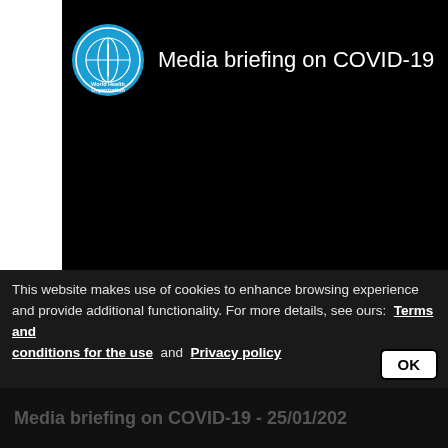Media briefing on COVID-19
[Figure (screenshot): Black video player area showing a WHO media briefing on COVID-19, with WHO logo and title at top]
This website makes use of cookies to enhance browsing experience and provide additional functionality. For more details, see ours: Terms and conditions for the use and Privacy policy
Media briefing on COVID-19 - 25/01/2022